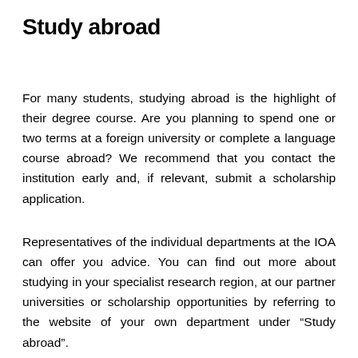Study abroad
For many students, studying abroad is the highlight of their degree course. Are you planning to spend one or two terms at a foreign university or complete a language course abroad? We recommend that you contact the institution early and, if relevant, submit a scholarship application.
Representatives of the individual departments at the IOA can offer you advice. You can find out more about studying in your specialist research region, at our partner universities or scholarship opportunities by referring to the website of your own department under “Study abroad”.